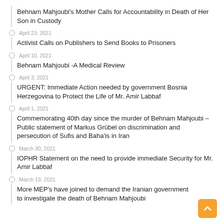Behnam Mahjoubi's Mother Calls for Accountability in Death of Her Son in Custody
April 23, 2021 — Activist Calls on Publishers to Send Books to Prisoners
April 10, 2021 — Behnam Mahjoubi -A Medical Review
April 3, 2021 — URGENT: Immediate Action needed by government Bosnia Herzegovina to Protect the Life of Mr. Amir Labbaf
April 1, 2021 — Commemorating 40th day since the murder of Behnam Mahjoubi – Public statement of Markus Grübel on discrimination and persecution of Sufis and Baha'is in Iran
March 30, 2021 — IOPHR Statement on the need to provide immediate Security for Mr. Amir Labbaf
March 19, 2021 — More MEP's have joined to demand the Iranian government to investigate the death of Behnam Mahjoubi